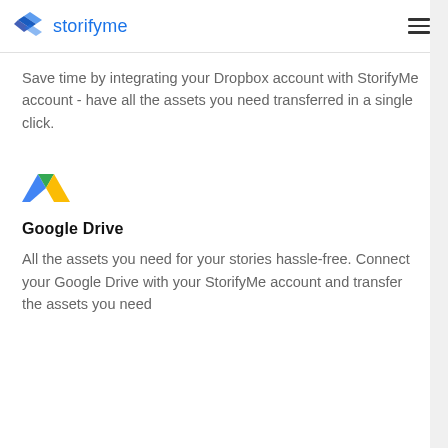storifyme
Save time by integrating your Dropbox account with StorifyMe account - have all the assets you need transferred in a single click.
[Figure (logo): Google Drive logo - triangle shape with green, yellow, and blue sections]
Google Drive
All the assets you need for your stories hassle-free. Connect your Google Drive with your StorifyMe account and transfer the assets you need